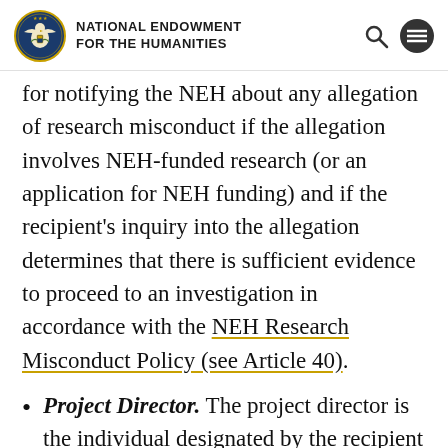NATIONAL ENDOWMENT FOR THE HUMANITIES
for notifying the NEH about any allegation of research misconduct if the allegation involves NEH-funded research (or an application for NEH funding) and if the recipient's inquiry into the allegation determines that there is sufficient evidence to proceed to an investigation in accordance with the NEH Research Misconduct Policy (see Article 40).
Project Director. The project director is the individual designated by the recipient that is responsible for the programmatic aspects of the award and for day-to-day management of